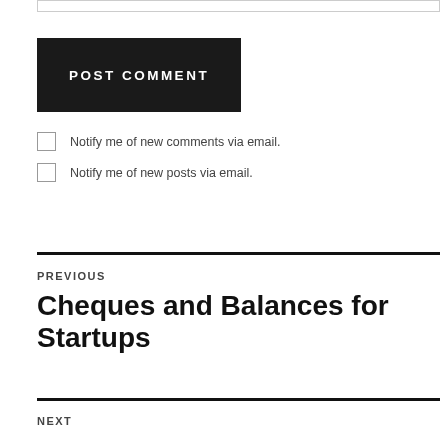[input field]
POST COMMENT
Notify me of new comments via email.
Notify me of new posts via email.
PREVIOUS
Cheques and Balances for Startups
NEXT